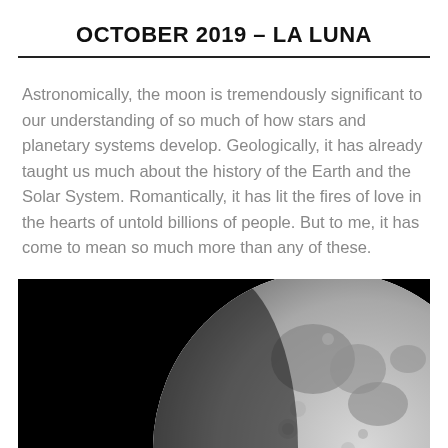OCTOBER 2019 – LA LUNA
Astronomically, the moon is tremendously significant to our understanding of so much of how stars and planetary systems develop. Geologically, it has already taught us much about the history of the Earth and the Solar System. Romantically, it has lit the fires of love in the hearts of untold billions of people. But to me, it has come to mean so much more than any of these.
[Figure (photo): Black and white photograph of the moon showing roughly three-quarters illumination against a black background, with visible craters and maria on the lunar surface.]